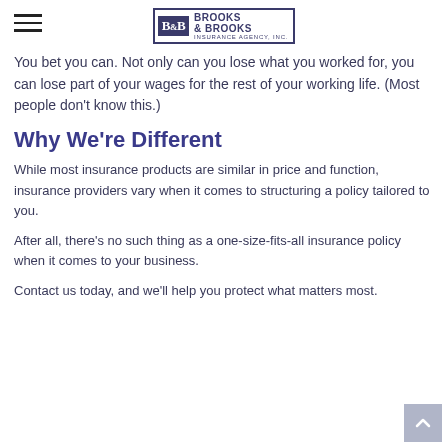Brooks & Brooks Insurance Agency, Inc.
You bet you can. Not only can you lose what you worked for, you can lose part of your wages for the rest of your working life. (Most people don't know this.)
Why We're Different
While most insurance products are similar in price and function, insurance providers vary when it comes to structuring a policy tailored to you.
After all, there's no such thing as a one-size-fits-all insurance policy when it comes to your business.
Contact us today, and we'll help you protect what matters most.